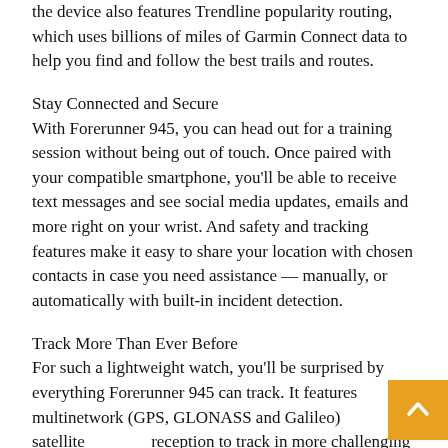the device also features Trendline popularity routing, which uses billions of miles of Garmin Connect data to help you find and follow the best trails and routes.
Stay Connected and Secure
With Forerunner 945, you can head out for a training session without being out of touch. Once paired with your compatible smartphone, you'll be able to receive text messages and see social media updates, emails and more right on your wrist. And safety and tracking features make it easy to share your location with chosen contacts in case you need assistance — manually, or automatically with built-in incident detection.
Track More Than Ever Before
For such a lightweight watch, you'll be surprised by everything Forerunner 945 can track. It features multinetwork (GPS, GLONASS and Galileo) satellite reception to track in more challenging environments